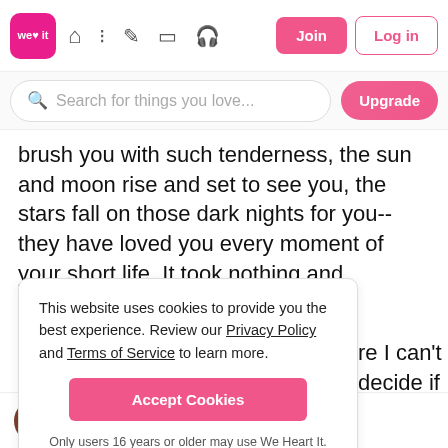we heart it — navigation bar with Join and Log in buttons
Search for things you love...
brush you with such tenderness, the sun and moon rise and set to see you, the stars fall on those dark nights for you--they have loved you every moment of your short life. It took nothing and everything to fall into those
[partially obscured] re I can't decide if [partially obscured] say there is even a [partially obscured]? How do you [partially obscured]m helpless, my [partially obscured]em to notice me. [partially obscured]s, way beyond the [partially obscured]n't see it. I will love [partially obscured] the stars have ever loved you, can't you see that?
This website uses cookies to provide you the best experience. Review our Privacy Policy and Terms of Service to learn more.

Accept Cookies

Only users 16 years or older may use We Heart It.
ReRe